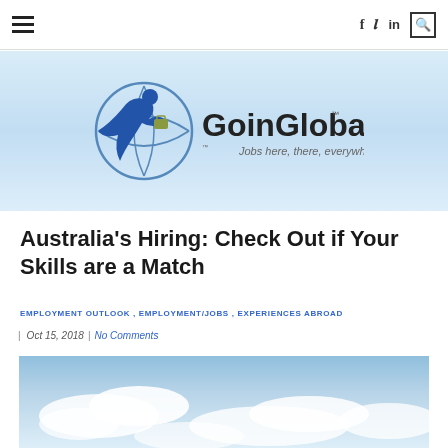Navigation bar with hamburger menu, social icons (f, t, in), and search box
[Figure (logo): GoinGlobal logo with tagline 'Jobs here, there, everywhere.' on a light blue gradient background]
Australia’s Hiring: Check Out if Your Skills are a Match
EMPLOYMENT OUTLOOK , EMPLOYMENT/JOBS , EXPERIENCES ABROAD
Oct 15, 2018 | No Comments
[Figure (photo): Sky with clouds photo, partially visible at bottom of page]